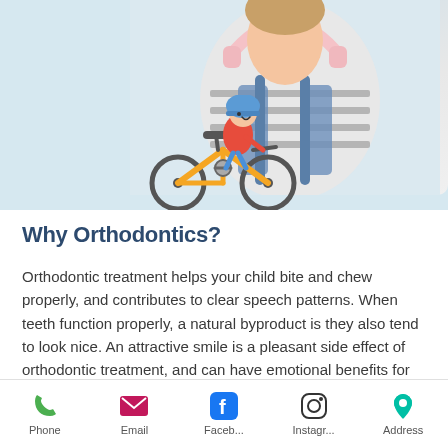[Figure (illustration): Top half of page: background photo of a teenager wearing a striped shirt with backpack and white headphones around neck, plus a cartoon illustration of a child riding a yellow bicycle, wearing a blue helmet.]
Why Orthodontics?
Orthodontic treatment helps your child bite and chew properly, and contributes to clear speech patterns. When teeth function properly, a natural byproduct is they also tend to look nice. An attractive smile is a pleasant side effect of orthodontic treatment, and can have emotional benefits for children and adults. Self-confidence and self-esteem
Phone   Email   Faceb...   Instagr...   Address